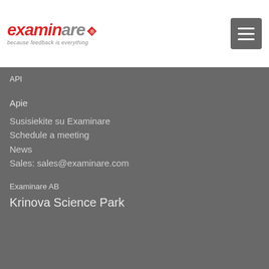[Figure (logo): Examinare logo with red 'examin' italic text and grey 'are' italic text, tagline 'because feedback is everything']
API
Apie
Susisiekite su Examinare
Schedule a meeting
News
Sales: sales@examinare.com
Examinare AB
Krinova Science Park